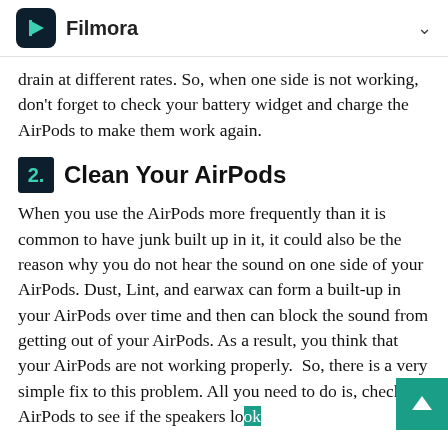Filmora
drain at different rates. So, when one side is not working, don't forget to check your battery widget and charge the AirPods to make them work again.
2. Clean Your AirPods
When you use the AirPods more frequently than it is common to have junk built up in it, it could also be the reason why you do not hear the sound on one side of your AirPods. Dust, Lint, and earwax can form a built-up in your AirPods over time and then can block the sound from getting out of your AirPods. As a result, you think that your AirPods are not working properly. So, there is a very simple fix to this problem. All you need to do is, check the AirPods to see if the speakers look